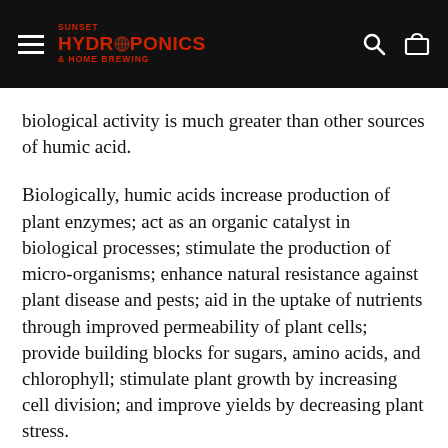SUNSET HYDROPONICS & HOME BREWING
biological activity is much greater than other sources of humic acid.
Biologically, humic acids increase production of plant enzymes; act as an organic catalyst in biological processes; stimulate the production of micro-organisms; enhance natural resistance against plant disease and pests; aid in the uptake of nutrients through improved permeability of plant cells; provide building blocks for sugars, amino acids, and chlorophyll; stimulate plant growth by increasing cell division; and improve yields by decreasing plant stress.